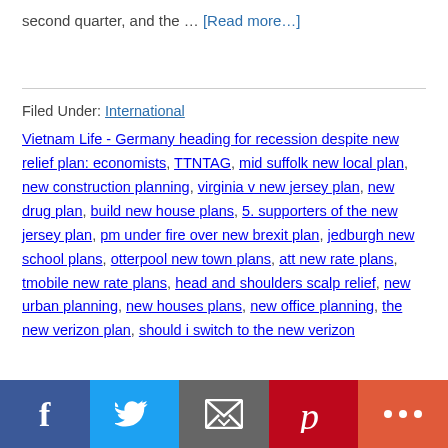second quarter, and the … [Read more…]
Filed Under: International
Vietnam Life - Germany heading for recession despite new relief plan: economists, TTNTAG, mid suffolk new local plan, new construction planning, virginia v new jersey plan, new drug plan, build new house plans, 5. supporters of the new jersey plan, pm under fire over new brexit plan, jedburgh new school plans, otterpool new town plans, att new rate plans, tmobile new rate plans, head and shoulders scalp relief, new urban planning, new houses plans, new office planning, the new verizon plan, should i switch to the new verizon
Social share bar: Facebook, Twitter, Email, Pinterest, More